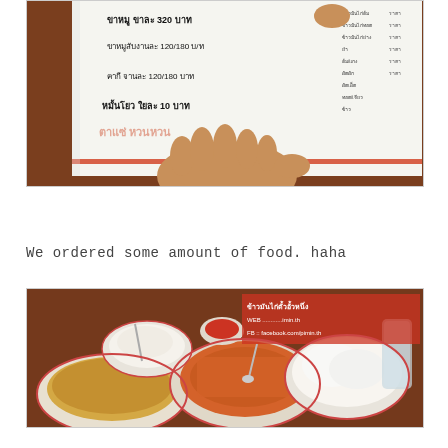[Figure (photo): A hand holding a Thai restaurant menu showing items with prices in Thai language including 320 baht, 120/180 baht items, and other dishes]
We ordered some amount of food. haha
[Figure (photo): A table with Thai food dishes including soup, stir-fry, rice, and white buns/bread, with watermark text showing website and Facebook page]